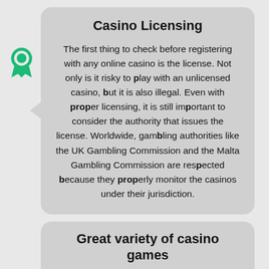[Figure (illustration): Green award/ribbon icon on the left side of the page, pointing to the casino licensing card]
Casino Licensing
The first thing to check before registering with any online casino is the license. Not only is it risky to play with an unlicensed casino, but it is also illegal. Even with proper licensing, it is still important to consider the authority that issues the license. Worldwide, gambling authorities like the UK Gambling Commission and the Malta Gambling Commission are respected because they properly monitor the casinos under their jurisdiction.
Great variety of casino games